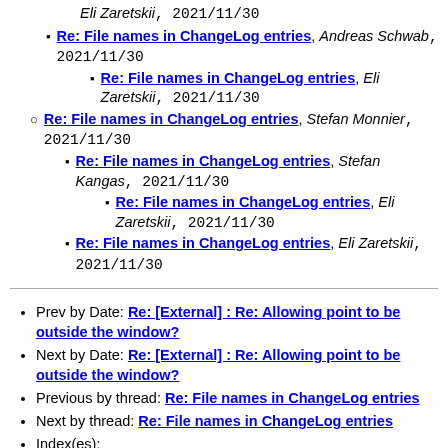Re: File names in ChangeLog entries, Andreas Schwab, 2021/11/30
Re: File names in ChangeLog entries, Eli Zaretskii, 2021/11/30
Re: File names in ChangeLog entries, Stefan Monnier, 2021/11/30
Re: File names in ChangeLog entries, Stefan Kangas, 2021/11/30
Re: File names in ChangeLog entries, Eli Zaretskii, 2021/11/30
Re: File names in ChangeLog entries, Eli Zaretskii, 2021/11/30
Prev by Date: Re: [External] : Re: Allowing point to be outside the window?
Next by Date: Re: [External] : Re: Allowing point to be outside the window?
Previous by thread: Re: File names in ChangeLog entries
Next by thread: Re: File names in ChangeLog entries
Index(es): Date, Thread